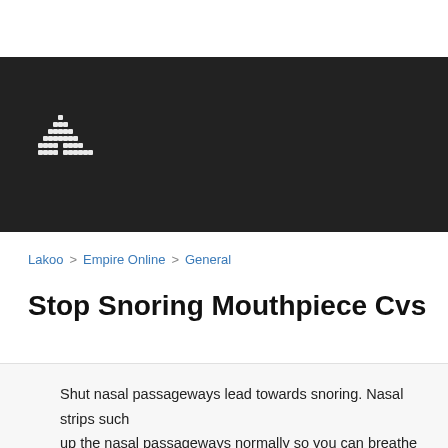[Figure (logo): Pixel/dot art logo resembling a character or mountain shape made of white dots on dark background]
Lakoo > Empire Online > General
Stop Snoring Mouthpiece Cvs
Shut nasal passageways lead towards snoring. Nasal strips such up the nasal passageways normally so you can breathe better. T are positioned over your nose to maintain the nostril open broad